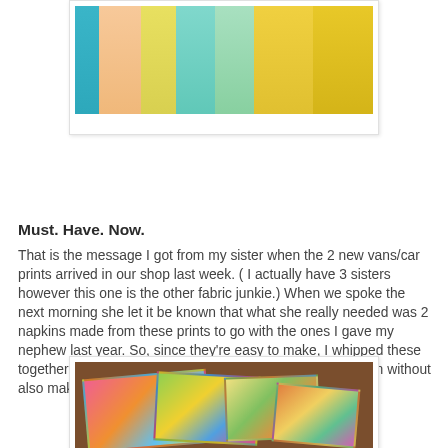[Figure (photo): Colorful patterned fabric strips arranged vertically, showing floral and geometric prints in teal, peach, yellow, and green colors.]
Must. Have. Now.
That is the message I got from my sister when the 2 new vans/car prints arrived in our shop last week. ( I actually have 3 sisters however this one is the other fabric junkie.) When we spoke the next morning she let it be known that what she really needed was 2 napkins made from these prints to go with the ones I gave my nephew last year. So, since they're easy to make, I whipped these together for him. And I couldn't very well make some for him without also making a couple for his little sister.
[Figure (photo): Colorful handmade napkins with various prints including stripes and cartoon characters, folded on a wooden surface.]